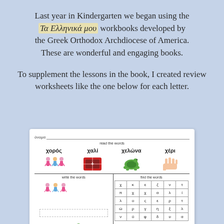Last year in Kindergarten we began using the Τα Ελληνικά μου workbooks developed by the Greek Orthodox Archdiocese of America. These are wonderful and engaging books.
To supplement the lessons in the book, I created review worksheets like the one below for each letter.
[Figure (illustration): A sample Greek language worksheet showing Greek words for chi (χ): χορός (dance), χαλί (rug), χελώνα (turtle), χέρι (hand/arm), with illustrations, a word search grid, and a writing practice section.]